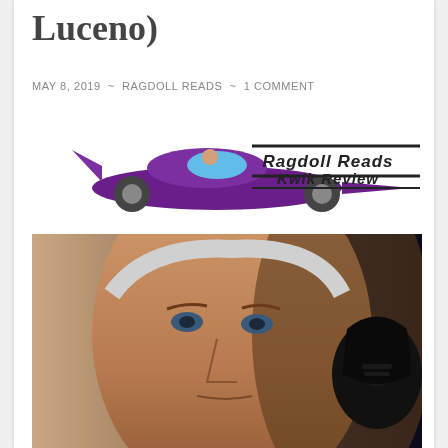Luceno)
MAY 8, 2019 ~ RAGDOLL READS ~ 1 COMMENT
[Figure (logo): Ragdoll Reads Kwik Review logo featuring a purple racing car with a driver and decorative text banner reading 'Ragdoll Reads Kwik Review']
[Figure (photo): Book cover or promotional image showing a close-up of a stern-faced older man in the foreground and a dark figure (Darth Vader) in the background, appearing to be Star Wars related artwork]